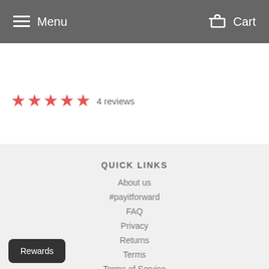Menu   Cart
★★★★★ 4 reviews
QUICK LINKS
About us
#payitforward
FAQ
Privacy
Returns
Terms
Terms of Service
Refund policy
Rewards